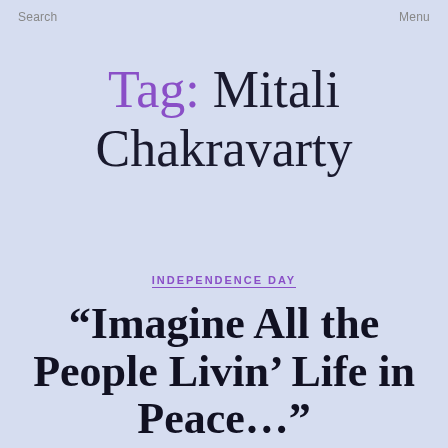Search   Menu
Tag: Mitali Chakravarty
INDEPENDENCE DAY
“Imagine All the People Livin’ Life in Peace…”